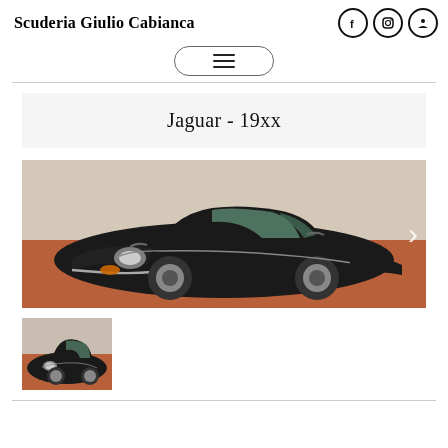Scuderia Giulio Cabianca
Jaguar - 19xx
[Figure (photo): Black Jaguar E-type classic sports car photographed from front-left angle on a reddish-brown floor]
[Figure (photo): Thumbnail of the same black Jaguar E-type classic sports car]